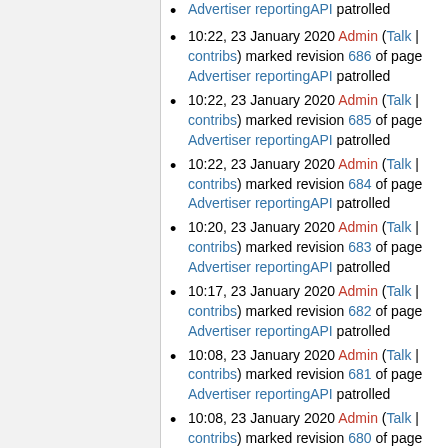10:22, 23 January 2020 Admin (Talk | contribs) marked revision 686 of page Advertiser reportingAPI patrolled
10:22, 23 January 2020 Admin (Talk | contribs) marked revision 685 of page Advertiser reportingAPI patrolled
10:22, 23 January 2020 Admin (Talk | contribs) marked revision 684 of page Advertiser reportingAPI patrolled
10:20, 23 January 2020 Admin (Talk | contribs) marked revision 683 of page Advertiser reportingAPI patrolled
10:17, 23 January 2020 Admin (Talk | contribs) marked revision 682 of page Advertiser reportingAPI patrolled
10:08, 23 January 2020 Admin (Talk | contribs) marked revision 681 of page Advertiser reportingAPI patrolled
10:08, 23 January 2020 Admin (Talk | contribs) marked revision 680 of page Advertiser reportingAPI patrolled
10:07, 23 January 2020 Admin (Talk | contribs) marked revision 679 of page